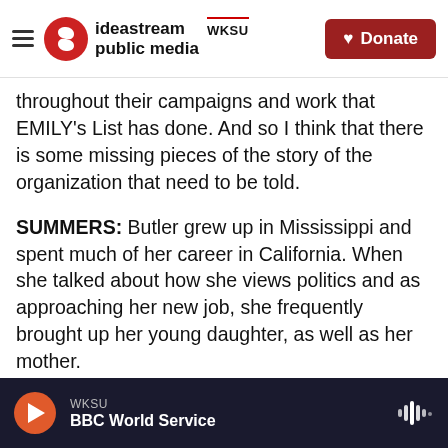ideastream public media WKSU | Donate
throughout their campaigns and work that EMILY's List has done. And so I think that there is some missing pieces of the story of the organization that need to be told.
SUMMERS: Butler grew up in Mississippi and spent much of her career in California. When she talked about how she views politics and as approaching her new job, she frequently brought up her young daughter, as well as her mother.
BUTLER: My mom didn't teach me about politics. My mom taught me about survival on the days when she had to work three jobs in one day to
WKSU | BBC World Service